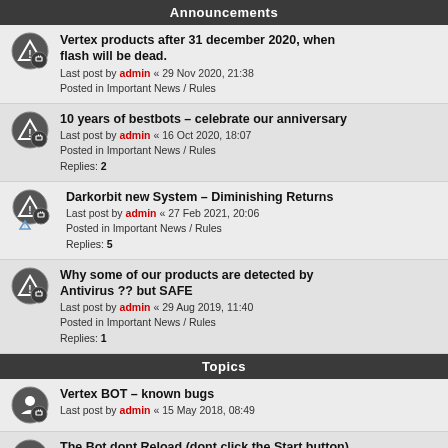Announcements
Vertex products after 31 december 2020, when flash will be dead.
Last post by admin « 29 Nov 2020, 21:38
Posted in Important News / Rules
10 years of bestbots – celebrate our anniversary
Last post by admin « 16 Oct 2020, 18:07
Posted in Important News / Rules
Replies: 2
Darkorbit new System – Diminishing Returns
Last post by admin « 27 Feb 2021, 20:06
Posted in Important News / Rules
Replies: 5
Why some of our products are detected by Antivirus ?? but SAFE
Last post by admin « 29 Aug 2019, 11:40
Posted in Important News / Rules
Replies: 1
Topics
Vertex BOT – known bugs
Last post by admin « 15 May 2018, 08:49
The Bot dont Reload (dont click the Start button)
Last post by admin « 13 Feb 2021, 13:53
Replies: 5
10years of bestbots – Vertex Bot Tool FREE